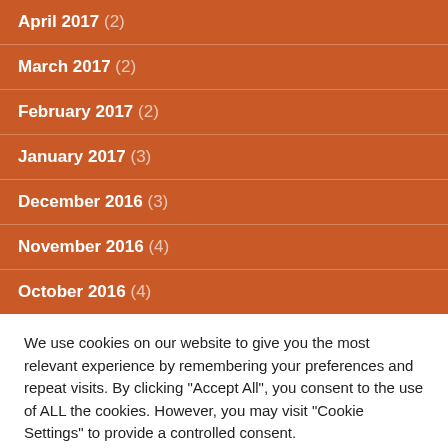April 2017 (2)
March 2017 (2)
February 2017 (2)
January 2017 (3)
December 2016 (3)
November 2016 (4)
October 2016 (4)
We use cookies on our website to give you the most relevant experience by remembering your preferences and repeat visits. By clicking "Accept All", you consent to the use of ALL the cookies. However, you may visit "Cookie Settings" to provide a controlled consent.
Cookie Settings
Accept All